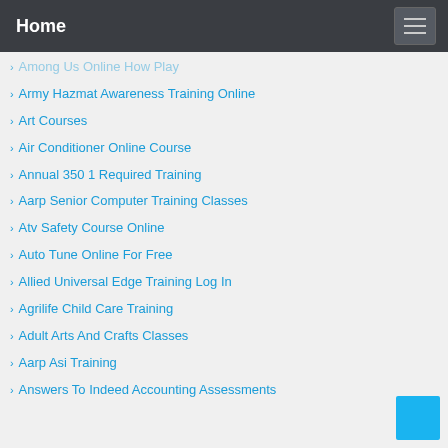Home
Among Us Online How Play
Army Hazmat Awareness Training Online
Art Courses
Air Conditioner Online Course
Annual 350 1 Required Training
Aarp Senior Computer Training Classes
Atv Safety Course Online
Auto Tune Online For Free
Allied Universal Edge Training Log In
Agrilife Child Care Training
Adult Arts And Crafts Classes
Aarp Asi Training
Answers To Indeed Accounting Assessments